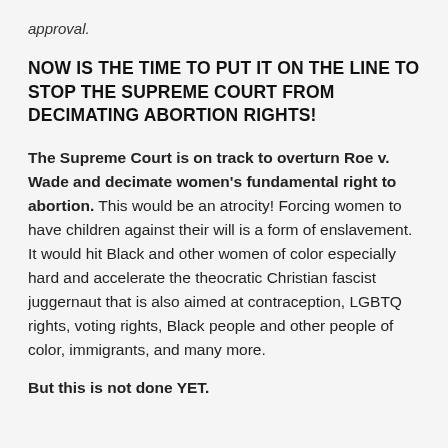approval.
NOW IS THE TIME TO PUT IT ON THE LINE TO STOP THE SUPREME COURT FROM DECIMATING ABORTION RIGHTS!
The Supreme Court is on track to overturn Roe v. Wade and decimate women's fundamental right to abortion. This would be an atrocity! Forcing women to have children against their will is a form of enslavement. It would hit Black and other women of color especially hard and accelerate the theocratic Christian fascist juggernaut that is also aimed at contraception, LGBTQ rights, voting rights, Black people and other people of color, immigrants, and many more.
But this is not done YET.